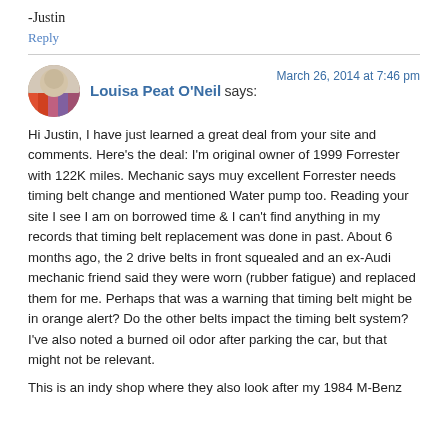-Justin
Reply
Louisa Peat O'Neil says:
March 26, 2014 at 7:46 pm
Hi Justin, I have just learned a great deal from your site and comments. Here's the deal: I'm original owner of 1999 Forrester with 122K miles. Mechanic says muy excellent Forrester needs timing belt change and mentioned Water pump too. Reading your site I see I am on borrowed time & I can't find anything in my records that timing belt replacement was done in past. About 6 months ago, the 2 drive belts in front squealed and an ex-Audi mechanic friend said they were worn (rubber fatigue) and replaced them for me. Perhaps that was a warning that timing belt might be in orange alert? Do the other belts impact the timing belt system? I've also noted a burned oil odor after parking the car, but that might not be relevant.
This is an indy shop where they also look after my 1984 M-Benz